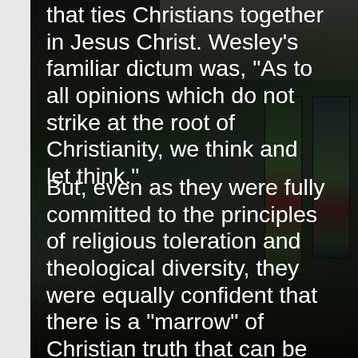[Figure (photo): Church interior with stained glass windows and wooden pews, viewed from an angle. The image has a dark overlay with white text overlaid on top.]
that ties Christians together in Jesus Christ. Wesley's familiar dictum was, "As to all opinions which do not strike at the root of Christianity, we think and let think."
But, even as they were fully committed to the principles of religious toleration and theological diversity, they were equally confident that there is a "marrow" of Christian truth that can be identified and that must be conserved. This living core, as they believed, stands revealed in Scripture, illumined by tradition,